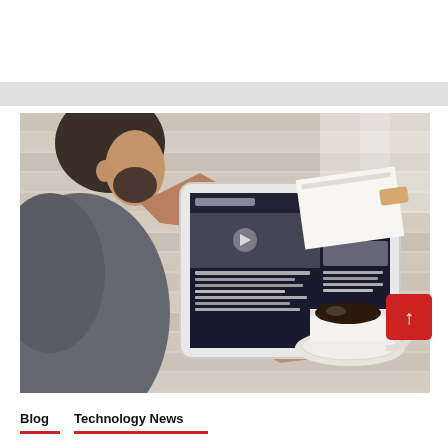[Figure (photo): Man with beard using a tablet/iPad at a wooden desk, with a cup of black coffee nearby. Overhead/aerial view. The tablet displays a news website.]
Blog   Technology News